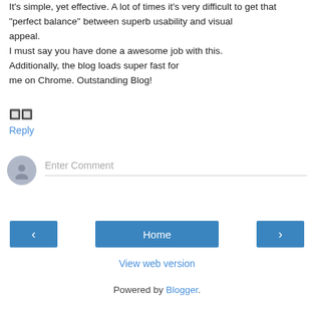It's simple, yet effective. A lot of times it's very difficult to get that "perfect balance" between superb usability and visual appeal. I must say you have done a awesome job with this. Additionally, the blog loads super fast for me on Chrome. Outstanding Blog! 🔲🔲
Reply
[Figure (other): Comment input area with user avatar and placeholder text 'Enter Comment']
[Figure (other): Navigation bar with left arrow button, Home button, and right arrow button]
View web version
Powered by Blogger.